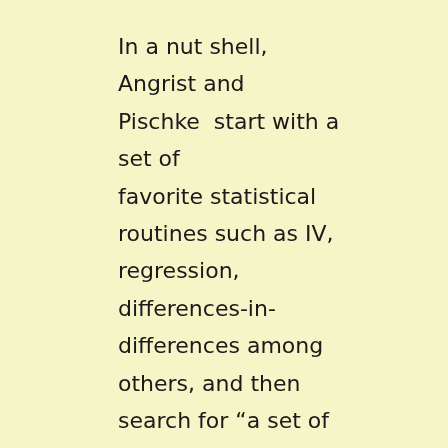In a nut shell, Angrist and Pischke  start with a set of favorite statistical routines such as IV, regression, differences-in-differences among others, and then search for “a set of control variables needed to insure that the regression-estimated effect of the variable of interest has a causal